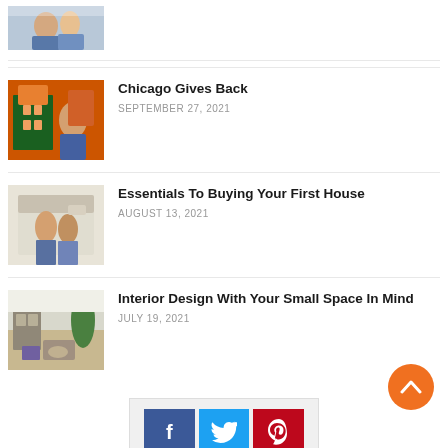[Figure (photo): Thumbnail image of people, partially cropped at top]
Chicago Gives Back
SEPTEMBER 27, 2021
[Figure (photo): Thumbnail of colorful orange storefront scene]
Essentials To Buying Your First House
AUGUST 13, 2021
[Figure (photo): Thumbnail of couple standing outside house]
Interior Design With Your Small Space In Mind
JULY 19, 2021
[Figure (photo): Thumbnail of interior room with plants and furniture]
[Figure (infographic): Social sharing buttons: Facebook, Twitter, Pinterest]